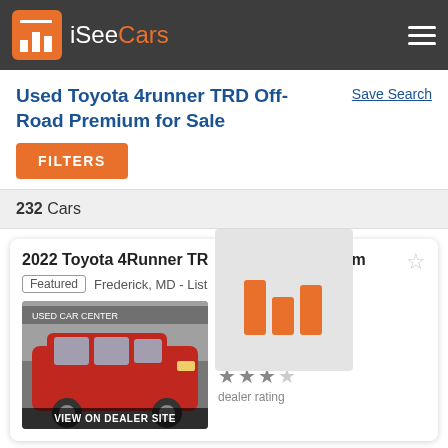iSeeCars navigation header
Used Toyota 4runner TRD Off-Road Premium for Sale
Save Search
FILTERS
232 Cars
2022 Toyota 4Runner TRD Off-Road Premium
Featured  Frederick, MD - List...
[Figure (logo): iSeeCars bar chart logo overlay]
$270 Above Market
$52,500  $53,998
3,214 mi
dealer rating (3 out of 5 stars)
VIEW ON DEALER SITE
2017 Toyota 4Runner TRD Off-Road Premium